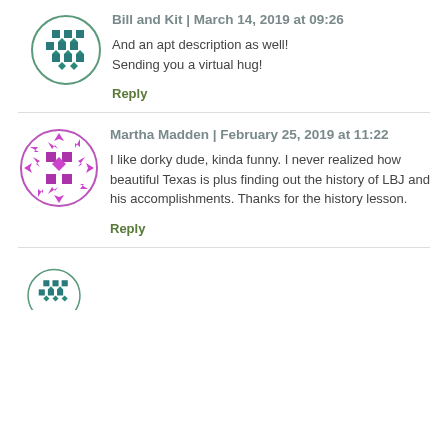[Figure (illustration): Circular avatar icon with teal/dark teal square and diamond pattern on white background with green border]
Bill and Kit  |  March 14, 2019 at 09:26
And an apt description as well!
Sending you a virtual hug!
Reply
[Figure (illustration): Circular avatar icon with purple/magenta arrow and square pattern on white background with purple border]
Martha Madden  |  February 25, 2019 at 11:22
I like dorky dude, kinda funny. I never realized how beautiful Texas is plus finding out the history of LBJ and his accomplishments. Thanks for the history lesson.
Reply
[Figure (illustration): Partial circular avatar icon with teal square and diamond pattern, cut off at bottom of page]